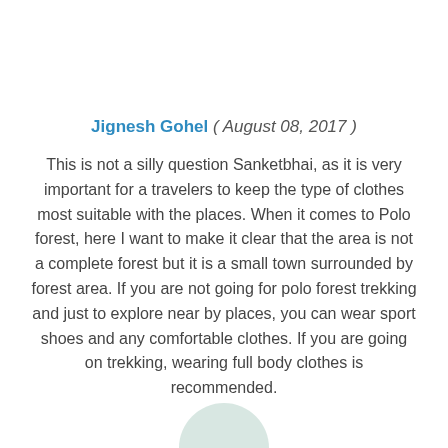Jignesh Gohel ( August 08, 2017 ) This is not a silly question Sanketbhai, as it is very important for a travelers to keep the type of clothes most suitable with the places. When it comes to Polo forest, here I want to make it clear that the area is not a complete forest but it is a small town surrounded by forest area. If you are not going for polo forest trekking and just to explore near by places, you can wear sport shoes and any comfortable clothes. If you are going on trekking, wearing full body clothes is recommended.